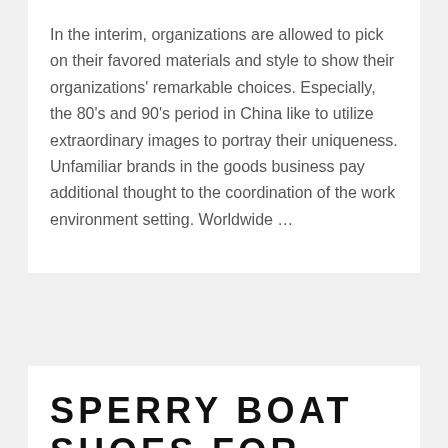In the interim, organizations are allowed to pick on their favored materials and style to show their organizations' remarkable choices. Especially, the 80's and 90's period in China like to utilize extraordinary images to portray their uniqueness. Unfamiliar brands in the goods business pay additional thought to the coordination of the work environment setting. Worldwide …
SPERRY BOAT SHOES FOR MEN, WOMEN, AND KIDS
POSTED ON JULY 28, 2022 BY MIRIAM WHEELER
These shoes are here to stir your unusual side so you